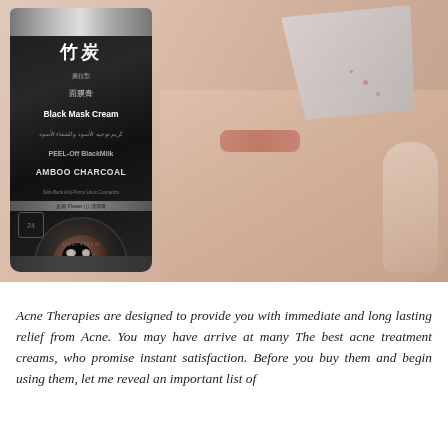[Figure (photo): Product photo showing a black bamboo charcoal peel-off black mask cream tube on the left, and a woman peeling a black face mask from her cheek on the right. The tube is labeled 'Black Mask Cream', 'PEEL-Off BlackMilk', 'BAMBOO CHARCOAL'.]
Acne Therapies are designed to provide you with immediate and long lasting relief from Acne. You may have arrive at many The best acne treatment creams, who promise instant satisfaction. Before you buy them and begin using them, let me reveal an important list of